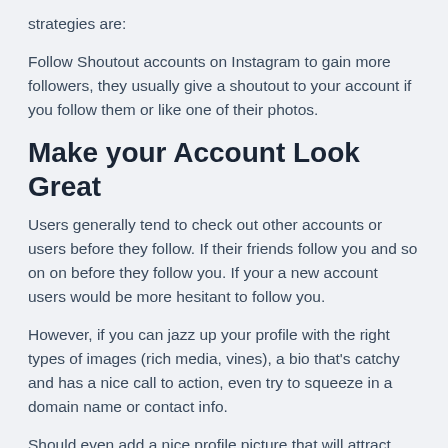strategies are:
Follow Shoutout accounts on Instagram to gain more followers, they usually give a shoutout to your account if you follow them or like one of their photos.
Make your Account Look Great
Users generally tend to check out other accounts or users before they follow. If their friends follow you and so on on before they follow you. If your a new account users would be more hesitant to follow you.
However, if you can jazz up your profile with the right types of images (rich media, vines), a bio that's catchy and has a nice call to action, even try to squeeze in a domain name or contact info.
Should even add a nice profile picture that will attract followers. Unless your a popular brand, I don't see you benefiting from using a logo as a profile picture.